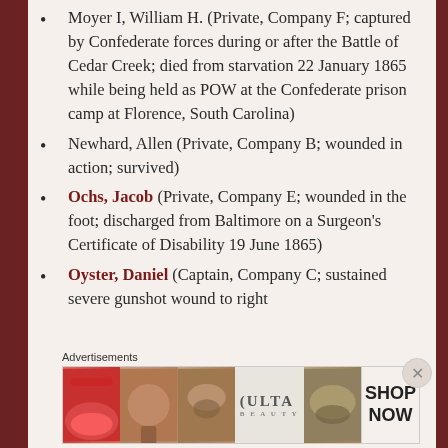Moyer I, William H. (Private, Company F; captured by Confederate forces during or after the Battle of Cedar Creek; died from starvation 22 January 1865 while being held as POW at the Confederate prison camp at Florence, South Carolina)
Newhard, Allen (Private, Company B; wounded in action; survived)
Ochs, Jacob (Private, Company E; wounded in the foot; discharged from Baltimore on a Surgeon's Certificate of Disability 19 June 1865)
Oyster, Daniel (Captain, Company C; sustained severe gunshot wound to right shoulder; survived)
Advertisements
[Figure (photo): Ulta Beauty advertisement banner showing cosmetic images and SHOP NOW call to action]